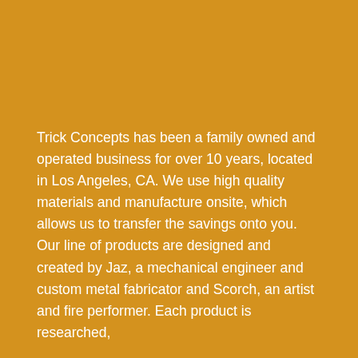Trick Concepts has been a family owned and operated business for over 10 years, located in Los Angeles, CA. We use high quality materials and manufacture onsite, which allows us to transfer the savings onto you. Our line of products are designed and created by Jaz, a mechanical engineer and custom metal fabricator and Scorch, an artist and fire performer. Each product is researched,